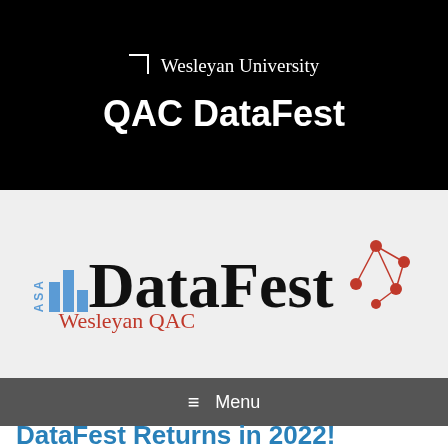Wesleyan University
QAC DataFest
[Figure (logo): ASA DataFest Wesleyan QAC logo with bar chart icon and network graph decoration]
≡ Menu
DataFest Returns in 2022!